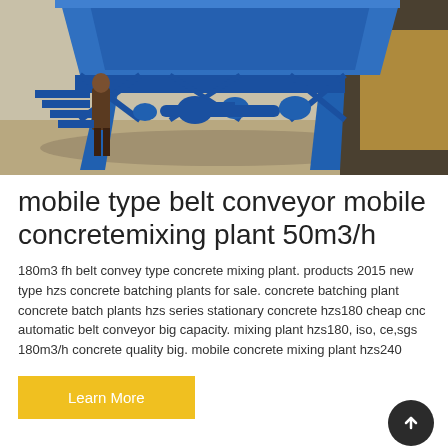[Figure (photo): Large blue metal belt conveyor mobile concrete mixing plant structure outdoors, with a person standing beside it in a warehouse/yard setting]
mobile type belt conveyor mobile concretemixing plant 50m3/h
180m3 fh belt convey type concrete mixing plant. products 2015 new type hzs concrete batching plants for sale. concrete batching plant concrete batch plants hzs series stationary concrete hzs180 cheap cnc automatic belt conveyor big capacity. mixing plant hzs180, iso, ce,sgs 180m3/h concrete quality big. mobile concrete mixing plant hzs240